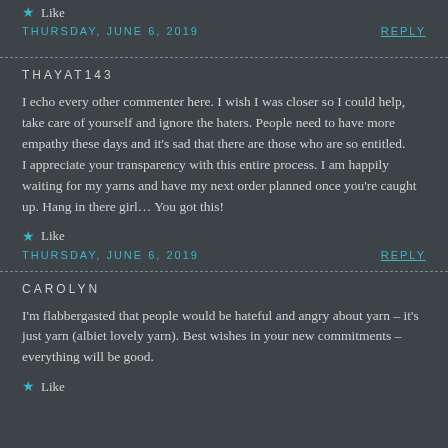Like
THURSDAY, JUNE 6, 2019   REPLY
THAYAT143
I echo every other commenter here. I wish I was closer so I could help, take care of yourself and ignore the haters. People need to have more empathy these days and it's sad that there are those who are so entitled.
I appreciate your transparency with this entire process. I am happily waiting for my yarns and have my next order planned once you're caught up. Hang in there girl… You got this!
Like
THURSDAY, JUNE 6, 2019   REPLY
CAROLYN
I'm flabbergasted that people would be hateful and angry about yarn – it's just yarn (albiet lovely yarn). Best wishes in your new commitments – everything will be good.
Like